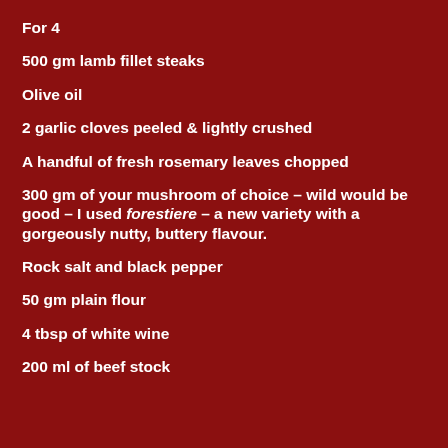For 4
500 gm lamb fillet steaks
Olive oil
2 garlic cloves peeled & lightly crushed
A handful of fresh rosemary leaves chopped
300 gm of your mushroom of choice – wild would be good – I used forestiere – a new variety with a gorgeously nutty, buttery flavour.
Rock salt and black pepper
50 gm plain flour
4 tbsp of white wine
200 ml of beef stock